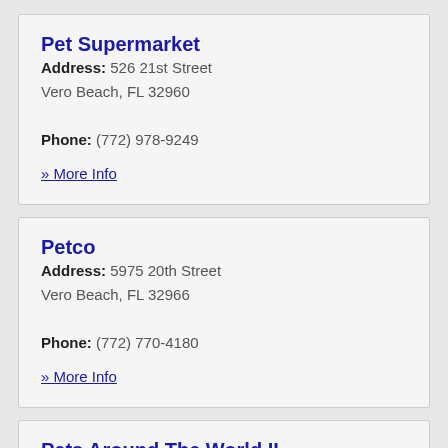Pet Supermarket
Address: 526 21st Street
Vero Beach, FL 32960
Phone: (772) 978-9249
» More Info
Petco
Address: 5975 20th Street
Vero Beach, FL 32966
Phone: (772) 770-4180
» More Info
Pets Around The World II